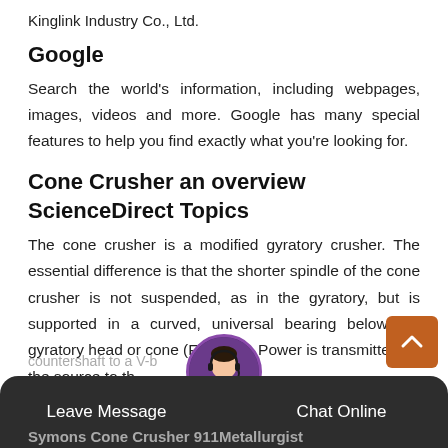Kinglink Industry Co., Ltd.
Google
Search the world's information, including webpages, images, videos and more. Google has many special features to help you find exactly what you're looking for.
Cone Crusher an overview ScienceDirect Topics
The cone crusher is a modified gyratory crusher. The essential difference is that the shorter spindle of the cone crusher is not suspended, as in the gyratory, but is supported in a curved, universal bearing below the gyratory head or cone (Figu 8.2). Power is transmitted from the source to th
countershaft to a V-be...ect drive.
Symons Cone Crusher 911Metallurgist